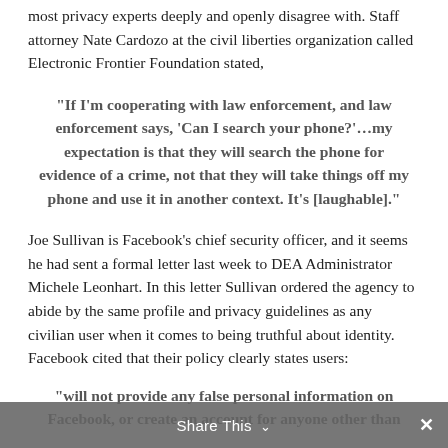most privacy experts deeply and openly disagree with. Staff attorney Nate Cardozo at the civil liberties organization called Electronic Frontier Foundation stated,
“If I’m cooperating with law enforcement, and law enforcement says, ‘Can I search your phone?’…my expectation is that they will search the phone for evidence of a crime, not that they will take things off my phone and use it in another context. It’s [laughable].”
Joe Sullivan is Facebook’s chief security officer, and it seems he had sent a formal letter last week to DEA Administrator Michele Leonhart. In this letter Sullivan ordered the agency to abide by the same profile and privacy guidelines as any civilian user when it comes to being truthful about identity. Facebook cited that their policy clearly states users:
“will not provide any false personal information on Facebook, or create an account for anyone other than